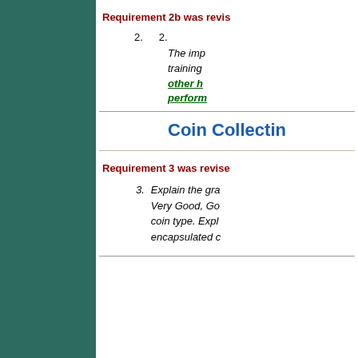Requirement 2b was revis…
2.   2.
The imp… training … other h… perform…
Coin Collectin…
Requirement 3 was revise…
3. Explain the gra… Very Good, Go… coin type. Expl… encapsulated c…